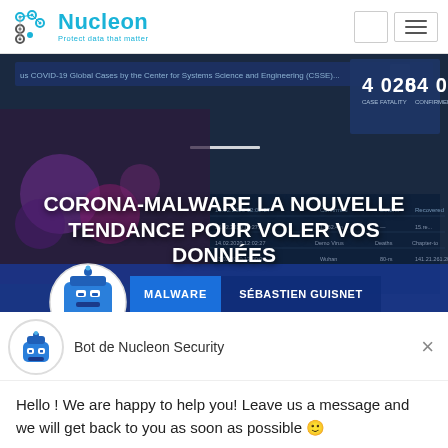[Figure (logo): Nucleon Security logo with circular dot pattern and cyan text 'Nucleon' and tagline 'Protect data that matter']
[Figure (screenshot): COVID-19 Global Cases dashboard screenshot overlaid with bold white text: CORONA-MALWARE LA NOUVELLE TENDANCE POUR VOLER VOS DONNÉES, with MALWARE and SÉBASTIEN GUISNET tags at bottom]
Bot de Nucleon Security
Hello ! We are happy to help you! Leave us a message and we will get back to you as soon as possible 🙂
Répondre à Bot
Lisez notre politique de confidentialité